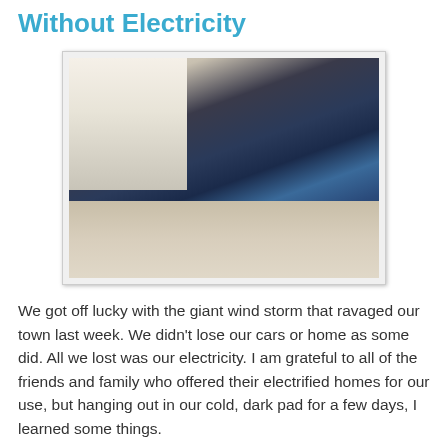Without Electricity
[Figure (photo): A child sleeping in a Star Wars tent/fort set up on a bed, with a glowing blue light inside the tent. A window with blinds is visible in the background.]
We got off lucky with the giant wind storm that ravaged our town last week. We didn't lose our cars or home as some did. All we lost was our electricity. I am grateful to all of the friends and family who offered their electrified homes for our use, but hanging out in our cold, dark pad for a few days, I learned some things.
1. If everyone and the pets sleep inside the Star Wars fort on the bed, it is warmer than sleeping in that same bed sans